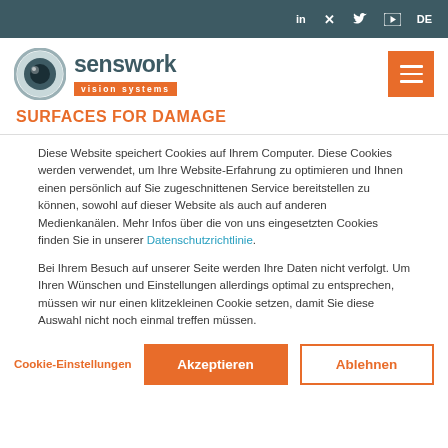senswork vision systems — top navigation bar with social icons (LinkedIn, Xing, Twitter, YouTube) and DE language selector
[Figure (logo): Senswork vision systems logo: circular eye icon with 'senswork' in dark teal bold text and 'vision systems' on orange background badge]
SURFACES FOR DAMAGE
Diese Website speichert Cookies auf Ihrem Computer. Diese Cookies werden verwendet, um Ihre Website-Erfahrung zu optimieren und Ihnen einen persönlich auf Sie zugeschnittenen Service bereitstellen zu können, sowohl auf dieser Website als auch auf anderen Medienkanälen. Mehr Infos über die von uns eingesetzten Cookies finden Sie in unserer Datenschutzrichtlinie.
Bei Ihrem Besuch auf unserer Seite werden Ihre Daten nicht verfolgt. Um Ihren Wünschen und Einstellungen allerdings optimal zu entsprechen, müssen wir nur einen klitzekleinen Cookie setzen, damit Sie diese Auswahl nicht noch einmal treffen müssen.
Cookie-Einstellungen | Akzeptieren | Ablehnen